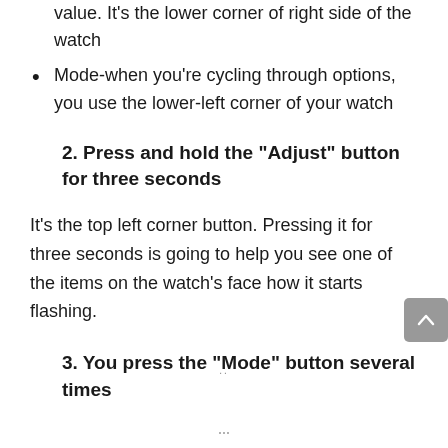value. It's the lower corner of right side of the watch
Mode-when you're cycling through options, you use the lower-left corner of your watch
2. Press and hold the “Adjust” button for three seconds
It’s the top left corner button. Pressing it for three seconds is going to help you see one of the items on the watch’s face how it starts flashing.
3. You press the “Mode” button several times